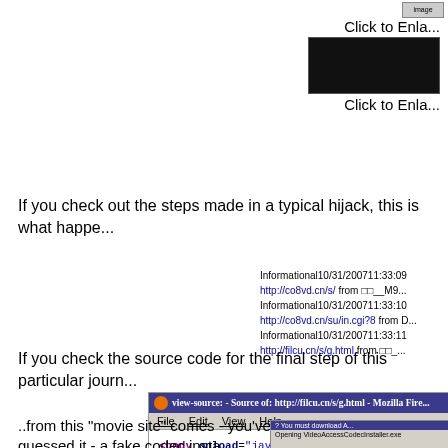[Figure (screenshot): Thumbnail image at top right with 'Click to Enlarge' text, showing a dark movie-related image]
If you check out the steps made in a typical hijack, this is what happe...
Informational10/31/200711:33:09 http://co8vd.cn/s/ from □□__M9... Informational10/31/200711:33:10 http://co8vd.cn/su/in.cgi?8 from D... Informational10/31/200711:33:11 http://filcu.cn/s/g.html from □□_...
If you check the source code for the final step of this particular journ...
[Figure (screenshot): Firefox browser window showing view-source of http://filcu.cn/s/g.html with HTML code: <body onload="javascript:rd.submit();"> <form action="http://themymoviessite.com/... </body>]
..from this "movie site" comes - you've guessed it - a fake codec insta...
[Figure (screenshot): Bottom screenshot showing a download dialog for VideoAccessCodecInstaller.exe]